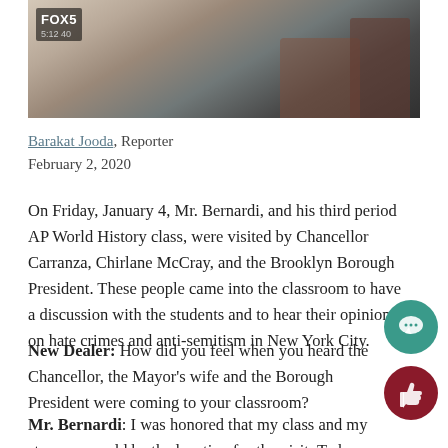[Figure (screenshot): FOX5 news screenshot showing a classroom scene with students at desks. FOX5 logo and timestamp 5:12 40 visible in top-left corner.]
Barakat Jooda, Reporter
February 2, 2020
On Friday, January 4, Mr. Bernardi, and his third period AP World History class, were visited by Chancellor Carranza, Chirlane McCray, and the Brooklyn Borough President. These people came into the classroom to have a discussion with the students and to hear their opinions on hate crimes and anti-semitism in New York City.
New Dealer: How did you feel when you heard the Chancellor, the Mayor's wife and the Borough President were coming to your classroom?
Mr. Bernardi: I was honored that my class and my students would be the location for the visit. To be honest, this visit